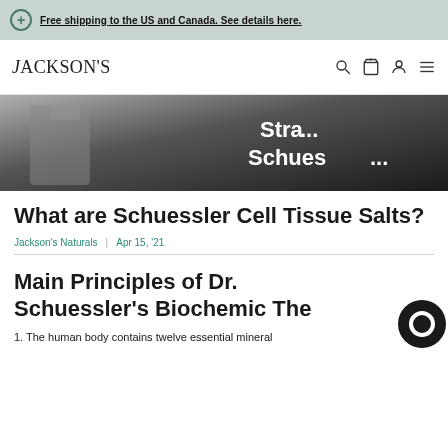Free shipping to the US and Canada. See details here.
JACKSON'S
[Figure (photo): Hero image partially visible, dark background with white bold text reading 'Stra... Schues...' (partial text for Schuessler)]
What are Schuessler Cell Tissue Salts?
Jackson's Naturals  |  Apr 15, '21
Main Principles of Dr. Schuessler's Biochemic The...
1. The human body contains twelve essential mineral